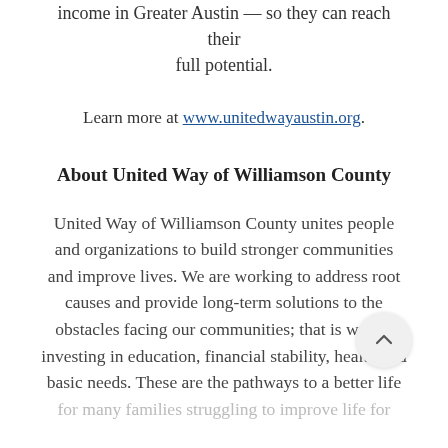income in Greater Austin — so they can reach their full potential.
Learn more at www.unitedwayaustin.org.
About United Way of Williamson County
United Way of Williamson County unites people and organizations to build stronger communities and improve lives. We are working to address root causes and provide long-term solutions to the obstacles facing our communities; that is why we are investing in education, financial stability, health and basic needs. These are the pathways to a better life for many families struggling to improve life for